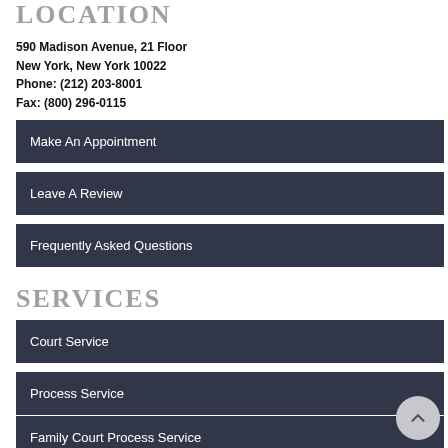LOCATION
590 Madison Avenue, 21 Floor
New York, New York 10022
Phone: (212) 203-8001
Fax: (800) 296-0115
Make An Appointment
Leave A Review
Frequently Asked Questions
SERVICES
Court Service
Process Service
Family Court Process Service